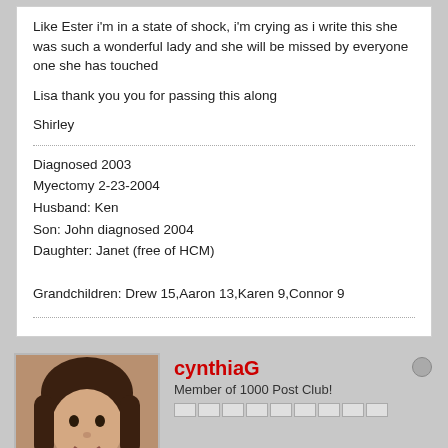Like Ester i'm in a state of shock, i'm crying as i write this she was such a wonderful lady and she will be missed by everyone one she has touched
Lisa thank you you for passing this along
Shirley
Diagnosed 2003
Myectomy 2-23-2004
Husband: Ken
Son: John diagnosed 2004
Daughter: Janet (free of HCM)

Grandchildren: Drew 15,Aaron 13,Karen 9,Connor 9
cynthiaG
Member of 1000 Post Club!
Join Date: Jan 2003    Posts: 1036
06-28-2005, 05:51 PM
#9
My sincerest sympathy goes out to Richard and Lisa's family. My prayers are with them at this difficult time.